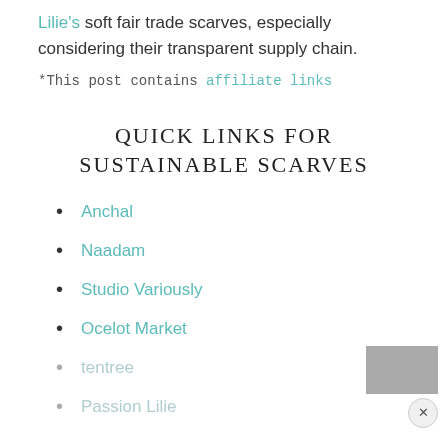Lilie's soft fair trade scarves, especially considering their transparent supply chain.
*This post contains affiliate links
QUICK LINKS FOR SUSTAINABLE SCARVES
Anchal
Naadam
Studio Variously
Ocelot Market
tentree
Passion Lilie